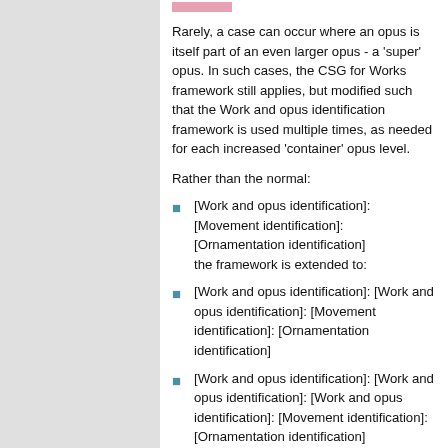Rarely, a case can occur where an opus is itself part of an even larger opus - a 'super' opus. In such cases, the CSG for Works framework still applies, but modified such that the Work and opus identification framework is used multiple times, as needed for each increased 'container' opus level.
Rather than the normal:
[Work and opus identification]: [Movement identification]: [Ornamentation identification]
the framework is extended to:
[Work and opus identification]: [Work and opus identification]: [Movement identification]: [Ornamentation identification]
[Work and opus identification]: [Work and opus identification]: [Work and opus identification]: [Movement identification]: [Ornamentation identification]
etc.